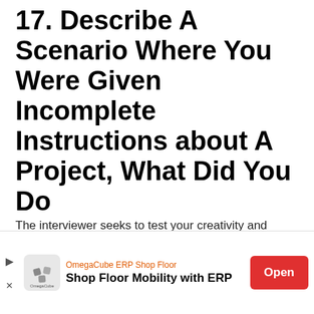17. Describe A Scenario Where You Were Given Incomplete Instructions about A Project, What Did You Do
The interviewer seeks to test your creativity and knowledge
Tip #1: Show that you managed the situation like a pro
[Figure (screenshot): Video overlay showing 'WHY SHOULD WE HIRE YOU?' text in yellow on grey background with a close button]
[Figure (infographic): OmegaCube ERP Shop Floor advertisement banner with logo, text 'Shop Floor Mobility with ERP', and red Open button]